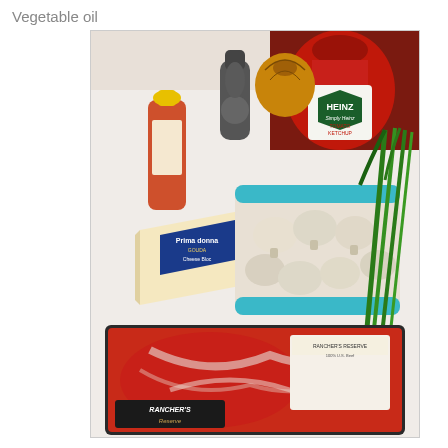Vegetable oil
[Figure (photo): A photograph of cooking ingredients laid out on a white surface, including a tray of raw beef (Rancher's Reserve), a pack of white button mushrooms, a wedge of cheese (Prima Donna), Heinz Simply Heinz Tomato Ketchup, a small bottle of what appears to be oil or sauce with a yellow cap, a pepper grinder, a whole onion, and fresh green onions/chives.]